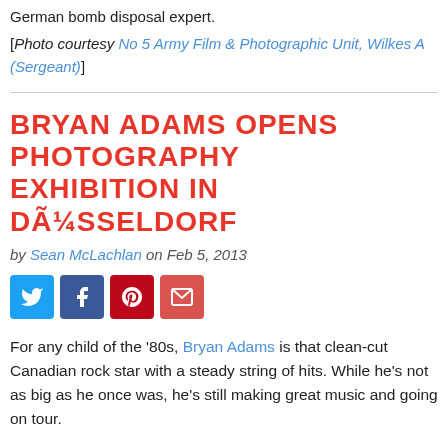German bomb disposal expert.
[Photo courtesy No 5 Army Film & Photographic Unit, Wilkes A (Sergeant)]
BRYAN ADAMS OPENS PHOTOGRAPHY EXHIBITION IN DÜSSELDORF
by Sean McLachlan on Feb 5, 2013
[Figure (other): Social sharing buttons: Twitter, Facebook, Pinterest, Email]
For any child of the '80s, Bryan Adams is that clean-cut Canadian rock star with a steady string of hits. While he's not as big as he once was, he's still making great music and going on tour.
What many people don't know about him is that he's also an accomplished photographer. He's been published in